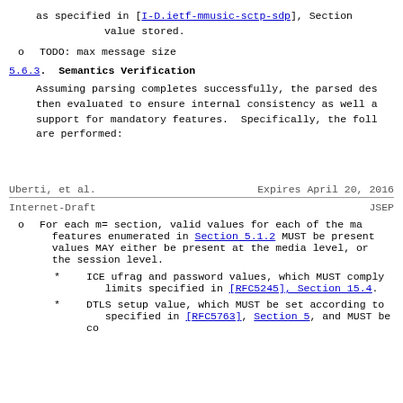as specified in [I-D.ietf-mmusic-sctp-sdp], Section value stored.
TODO: max message size
5.6.3.  Semantics Verification
Assuming parsing completes successfully, the parsed des then evaluated to ensure internal consistency as well a support for mandatory features.  Specifically, the foll are performed:
Uberti, et al.                Expires April 20, 2016
Internet-Draft                              JSEP
For each m= section, valid values for each of the ma features enumerated in Section 5.1.2 MUST be present values MAY either be present at the media level, or the session level.
ICE ufrag and password values, which MUST comply limits specified in [RFC5245], Section 15.4.
DTLS setup value, which MUST be set according to specified in [RFC5763], Section 5, and MUST be co